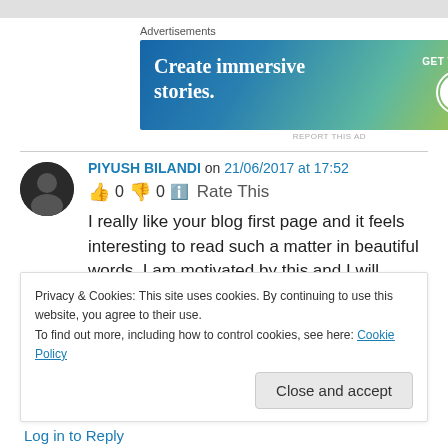[Figure (screenshot): Top grey bar at top of page]
Advertisements
[Figure (screenshot): WordPress advertisement banner: 'Create immersive stories. GET THE APP' with WordPress logo on gradient blue-green-yellow background]
REPORT THIS AD
PIYUSH BILANDI on 21/06/2017 at 17:52
👍 0 👎 0 ℹ️ Rate This
I really like your blog first page and it feels interesting to read such a matter in beautiful words. I am motivated by this and I will
Privacy & Cookies: This site uses cookies. By continuing to use this website, you agree to their use.
To find out more, including how to control cookies, see here: Cookie Policy
Close and accept
Log in to Reply